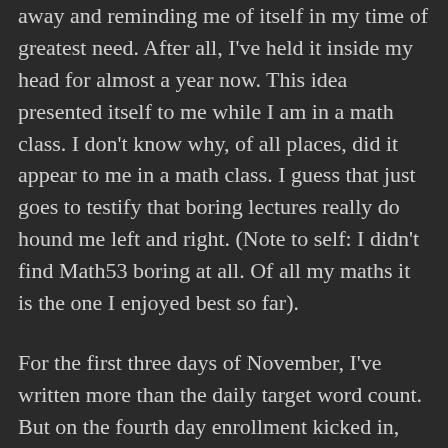away and reminding me of itself in my time of greatest need. After all, I've held it inside my head for almost a year now. This idea presented itself to me while I am in a math class. I don't know why, of all places, did it appear to me in a math class. I guess that just goes to testify that boring lectures really do hound me left and right. (Note to self: I didn't find Math53 boring at all. Of all my maths it is the one I enjoyed best so far).
For the first three days of November, I've written more than the daily target word count. But on the fourth day enrollment kicked in, opposing my momentum with such vehement force. Now, every second is an essential second as I try to get ahead of schedule once more. I'm not gunning to write the next bestseller. I just want to write. In any case I am sure that something will always be worse than the product of my one-month writing frenzy. (Note to